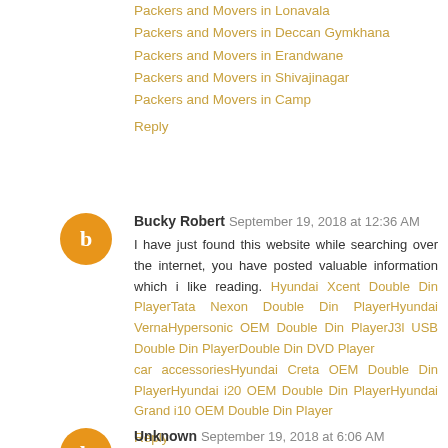Packers and Movers in Lonavala
Packers and Movers in Deccan Gymkhana
Packers and Movers in Erandwane
Packers and Movers in Shivajinagar
Packers and Movers in Camp
Reply
Bucky Robert September 19, 2018 at 12:36 AM
I have just found this website while searching over the internet, you have posted valuable information which i like reading. Hyundai Xcent Double Din PlayerTata Nexon Double Din PlayerHyundai VernaHypersonic OEM Double Din PlayerJ3l USB Double Din PlayerDouble Din DVD Player car accessoriesHyundai Creta OEM Double Din PlayerHyundai i20 OEM Double Din PlayerHyundai Grand i10 OEM Double Din Player
Reply
Unknown September 19, 2018 at 6:06 AM